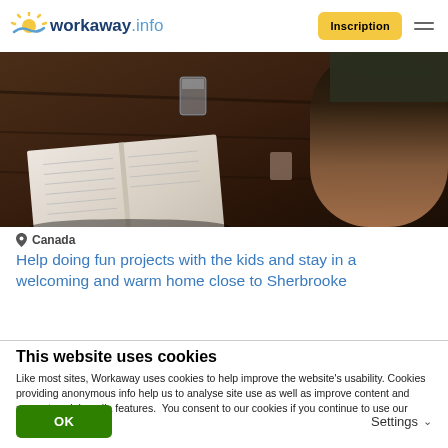workaway.info — Inscription
[Figure (photo): A photo showing an open book/notebook on a dark wooden table with someone's arm visible on the right and a glass in the background]
📍 Canada
Help doing fun projects with the kids and stay in a welcoming and warm home close to Sherbrooke
This website uses cookies
Like most sites, Workaway uses cookies to help improve the website's usability. Cookies providing anonymous info help us to analyse site use as well as improve content and present social media features.  You consent to our cookies if you continue to use our website.
OK     Settings